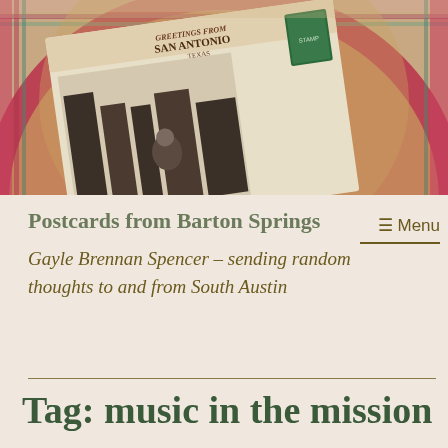[Figure (photo): Header photo showing a vintage postcard with 'Greetings from San Antonio Texas' text, black and white photograph on the postcard showing a street scene with a person, placed on a colorful ceramic plate with red and teal decorative pattern]
Postcards from Barton Springs
Gayle Brennan Spencer – sending random thoughts to and from South Austin
≡ Menu
Tag: music in the mission